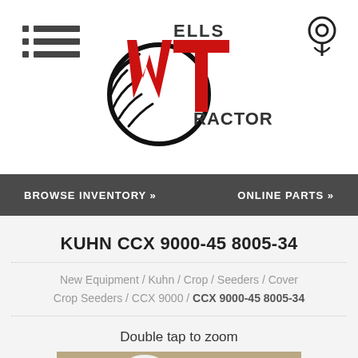Wells Tractor - Logo header with hamburger menu and location icon
BROWSE INVENTORY »   ONLINE PARTS »
KUHN CCX 9000-45 8005-34
New Equipment / Kuhn / Crop / Seeders / Cover Crop Seeders / CCX 9000 / CCX 9000-45 8005-34
Double tap to zoom
[Figure (photo): KUHN CCX 9000-45 8005-34 Cover Crop Seeder machine in a field, red equipment with white tank on top]